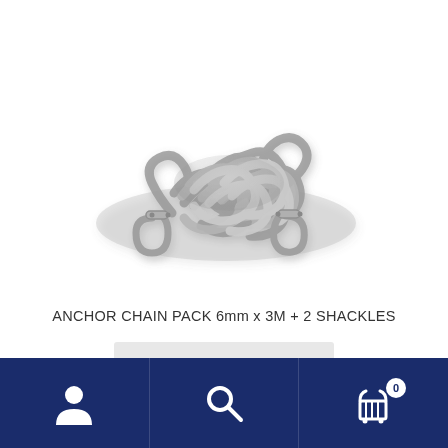[Figure (photo): A coiled galvanized steel anchor chain (6mm x 3M) with two D-shackles attached at each end, shown in a pile on a white background.]
ANCHOR CHAIN PACK 6mm x 3M + 2 SHACKLES
Add to cart
Navigation bar with user account icon, search icon, and shopping cart icon with badge showing 0